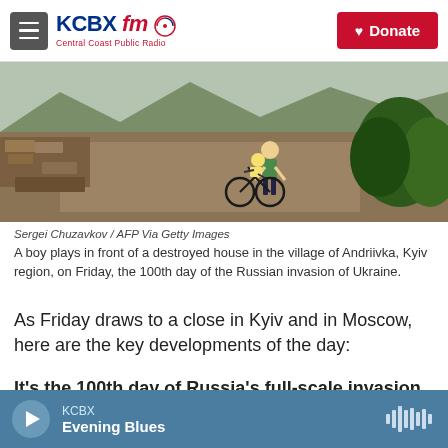KCBX FM Central Coast Public Radio | Donate
[Figure (photo): A boy in a yellow jacket rides a bicycle in front of a destroyed house with piled bricks and rubble in the village of Andriivka, Kyiv region.]
Sergei Chuzavkov / AFP Via Getty Images
A boy plays in front of a destroyed house in the village of Andriivka, Kyiv region, on Friday, the 100th day of the Russian invasion of Ukraine.
As Friday draws to a close in Kyiv and in Moscow, here are the key developments of the day:
It's the 100th day of Russia's full-scale invasion of Ukraine, with no end in sight to the war. The
KCBX Evening Blues